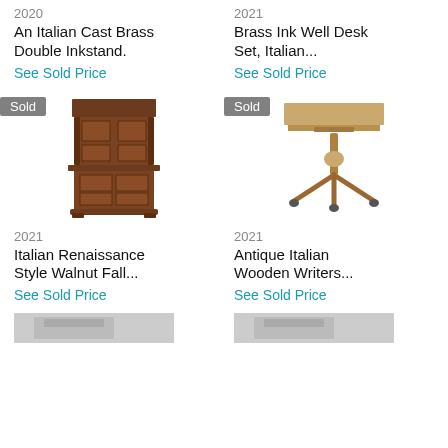2020
An Italian Cast Brass Double Inkstand.
See Sold Price
2021
Brass Ink Well Desk Set, Italian...
See Sold Price
[Figure (photo): Sold badge on antique carved walnut fall-front cabinet, Italian Renaissance style]
[Figure (photo): Sold badge on antique Italian wooden writing table on pedestal with tripod base and casters]
2021
Italian Renaissance Style Walnut Fall...
See Sold Price
2021
Antique Italian Wooden Writers...
See Sold Price
[Figure (photo): Partial image of another auction item at the bottom of the page, left side]
[Figure (photo): Partial image of another auction item at the bottom of the page, right side]